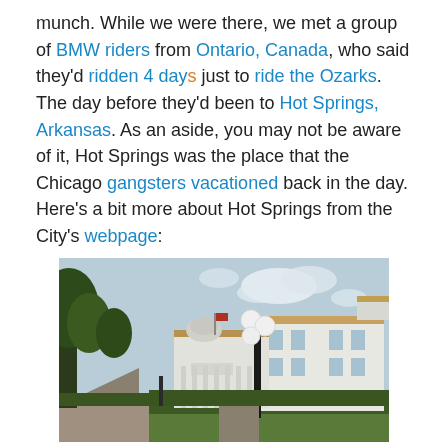munch. While we were there, we met a group of BMW riders from Ontario, Canada, who said they'd ridden 4 days just to ride the Ozarks. The day before they'd been to Hot Springs, Arkansas. As an aside, you may not be aware of it, Hot Springs was the place that the Chicago gangsters vacationed back in the day. Here's a bit more about Hot Springs from the City's webpage:
[Figure (photo): Street-level photo of Hot Springs, Arkansas showing white neoclassical/Spanish colonial buildings (including what appears to be the Ozark Bathhouse), a large ornate street lamp in the center, trees on the left, and a hedge/lawn in the foreground under a partly cloudy sky.]